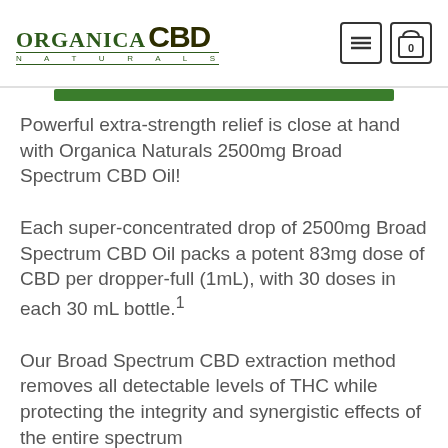ORGANICA NATURALS CBD
Powerful extra-strength relief is close at hand with Organica Naturals 2500mg Broad Spectrum CBD Oil!
Each super-concentrated drop of 2500mg Broad Spectrum CBD Oil packs a potent 83mg dose of CBD per dropper-full (1mL), with 30 doses in each 30 mL bottle.¹
Our Broad Spectrum CBD extraction method removes all detectable levels of THC while protecting the integrity and synergistic effects of the entire spectrum…